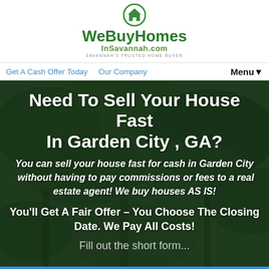[Figure (logo): WeBuyHomesInSavannah.com logo with house icon and green text. Tagline: SAVANNAH'S TRUSTED HOME BUYER]
Get A Cash Offer Today  Our Company  Menu▼
Need To Sell Your House Fast In Garden City , GA?
You can sell your house fast for cash in Garden City  without having to pay commissions or fees to a real estate agent! We buy houses AS IS!
You'll Get A Fair Offer – You Choose The Closing Date. We Pay All Costs!
Fill out the short form...
Call Us! 912-454-4818